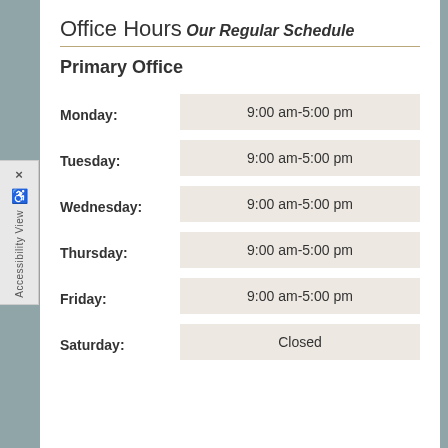Office Hours
Our Regular Schedule
Primary Office
| Day | Hours |
| --- | --- |
| Monday: | 9:00 am-5:00 pm |
| Tuesday: | 9:00 am-5:00 pm |
| Wednesday: | 9:00 am-5:00 pm |
| Thursday: | 9:00 am-5:00 pm |
| Friday: | 9:00 am-5:00 pm |
| Saturday: | Closed |